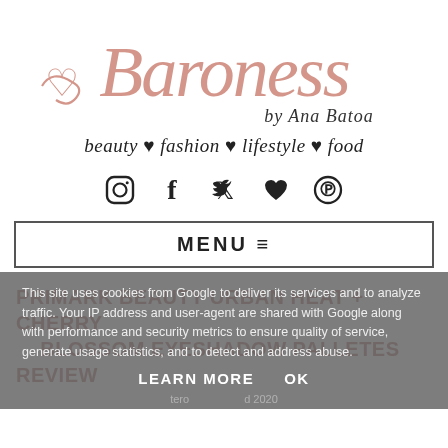[Figure (logo): Baroness by Ana Batoa blog logo in pink cursive script with subtitle 'beauty fashion lifestyle food' in dark cursive]
[Figure (infographic): Row of social media icons: Instagram, Facebook, Twitter, Heart/Bloglovin, Pinterest]
MENU ≡
This site uses cookies from Google to deliver its services and to analyze traffic. Your IP address and user-agent are shared with Google along with performance and security metrics to ensure quality of service, generate usage statistics, and to detect and address abuse.
LEARN MORE   OK